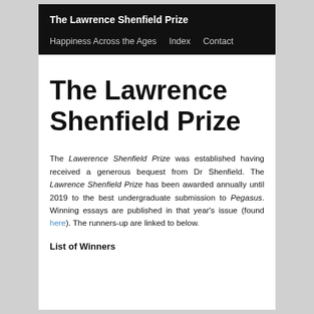The Lawrence Shenfield Prize
Happiness Across the Ages   Index   Contact
The Lawrence Shenfield Prize
The Lawerence Shenfield Prize was established having received a generous bequest from Dr Shenfield. The Lawrence Shenfield Prize has been awarded annually until 2019 to the best undergraduate submission to Pegasus. Winning essays are published in that year's issue (found here). The runners-up are linked to below.
List of Winners